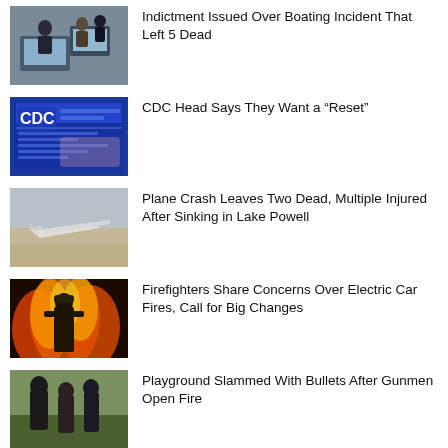[Figure (photo): People working at computers in an office setting]
Indictment Issued Over Boating Incident That Left 5 Dead
[Figure (photo): CDC website on a tablet screen]
CDC Head Says They Want a “Reset”
[Figure (photo): Crashed small plane on the ground]
Plane Crash Leaves Two Dead, Multiple Injured After Sinking in Lake Powell
[Figure (photo): Firefighter standing in front of large flames]
Firefighters Share Concerns Over Electric Car Fires, Call for Big Changes
[Figure (photo): People standing outdoors, partially visible]
Playground Slammed With Bullets After Gunmen Open Fire